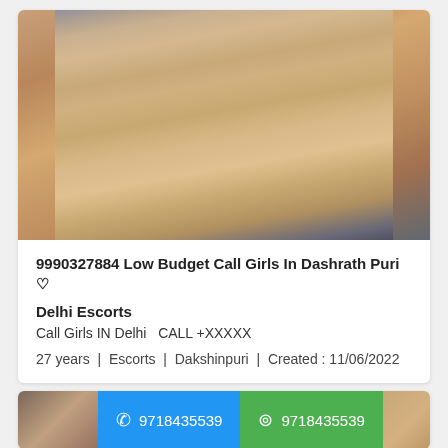[Figure (photo): Photo of a woman sitting on a bed in a hotel/room setting, wearing shorts and a white top]
9990327884 Low Budget Call Girls In Dashrath Puri ♡
Delhi Escorts
Call Girls IN Delhi  CALL +XXXXX
27 years  |  Escorts  |  Dakshinpuri  |  Created : 11/06/2022
[Figure (photo): Partial photo visible at bottom with call and WhatsApp buttons showing number 9718435539]